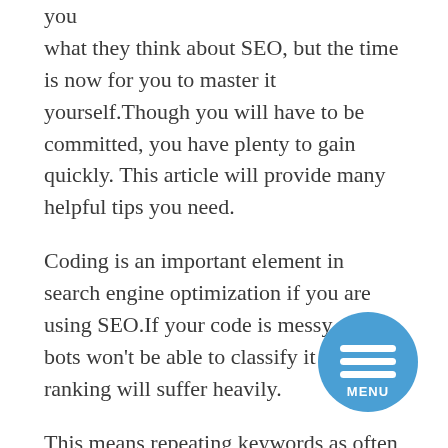you what they think about SEO, but the time is now for you to master it yourself.Though you will have to be committed, you have plenty to gain quickly. This article will provide many helpful tips you need.
Coding is an important element in search engine optimization if you are using SEO.If your code is messy, search bots won't be able to classify it and your ranking will suffer heavily.
This means repeating keywords as often as you can without making the flow of the writing stilted. Since the search engines rank pages based in part on the density of various keywords, your site's search engine rankings should improve dramatically.
Pick a domain name which has your chosen keywords.You need to make your site easily. Not
[Figure (illustration): A blue circular menu button with three horizontal white lines (hamburger icon) and the word MENU below the lines, positioned in the lower right area of the page.]